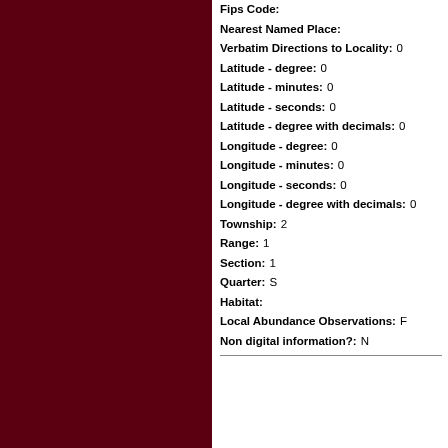Fips Code:
Nearest Named Place:
Verbatim Directions to Locality:  0
Latitude - degree:  0
Latitude - minutes:  0
Latitude - seconds:  0
Latitude - degree with decimals:  0
Longitude - degree:  0
Longitude - minutes:  0
Longitude - seconds:  0
Longitude - degree with decimals:  0
Township:  2
Range:  1
Section:  1
Quarter:  S
Habitat:
Local Abundance Observations:  F
Non digital information?:  N
[Figure (logo): USDA PLANTS logo with USDA text and stylized landscape icon above PLANTS text in green]